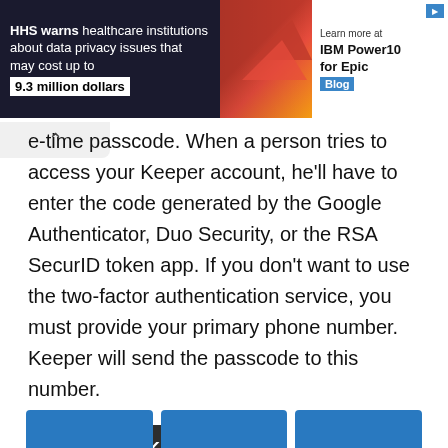[Figure (infographic): Advertisement banner: HHS warns healthcare institutions about data privacy issues that may cost up to 9.3 million dollars. Learn more at IBM Power10 for Epic Blog.]
e-time passcode. When a person tries to access your Keeper account, he'll have to enter the code generated by the Google Authenticator, Duo Security, or the RSA SecurID token app. If you don't want to use the two-factor authentication service, you must provide your primary phone number. Keeper will send the passcode to this number.
Download Keeper
Also read: Best security apps for Android
You may also like:
[Figure (other): Bottom strip showing three thumbnail cards in blue]